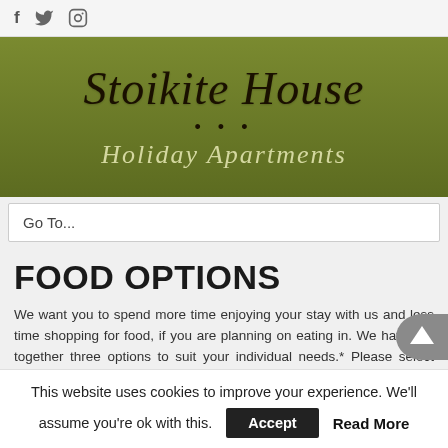[Figure (logo): Social media icons: Facebook (f), Twitter (bird), Instagram (camera) in gray]
[Figure (logo): Stoikite House Holiday Apartments green banner logo with italic serif text on olive green background]
Go To...
FOOD OPTIONS
We want you to spend more time enjoying your stay with us and less time shopping for food, if you are planning on eating in. We have put together three options to suit your individual needs.* Please select your required food option from the "Extras" s
This website uses cookies to improve your experience. We'll assume you're ok with this.
Accept  Read More